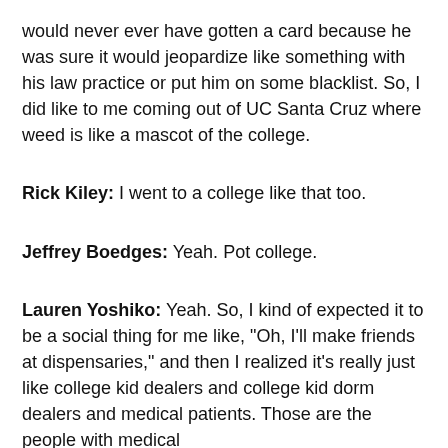would never ever have gotten a card because he was sure it would jeopardize like something with his law practice or put him on some blacklist. So, I did like to me coming out of UC Santa Cruz where weed is like a mascot of the college.
Rick Kiley: I went to a college like that too.
Jeffrey Boedges: Yeah. Pot college.
Lauren Yoshiko: Yeah. So, I kind of expected it to be a social thing for me like, "Oh, I'll make friends at dispensaries," and then I realized it's really just like college kid dealers and college kid dorm dealers and medical patients. Those are the people with medical